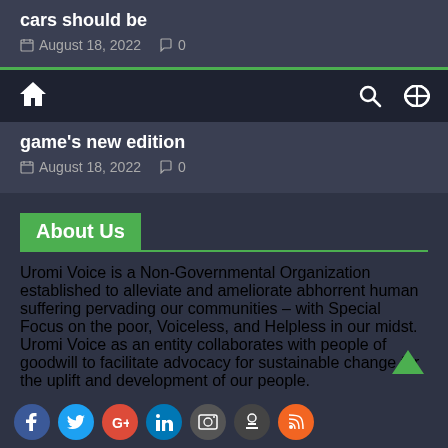cars should be
August 18, 2022  0
Navigation bar with home, search, and shuffle icons
game's new edition
August 18, 2022  0
About Us
Uromi Voice is a Non-Governmental Organization established to alleviate and ameliorate abhorrent human suffering pervading our communities – with Special Focus on the poor, Voiceless, and Helpless in our midst. Uromi Voice as an entity collaborates with people of goodwill to facilitate advocacy for sustainable change for the uplift and development of our people.
[Figure (infographic): Social media icon buttons at the bottom: Facebook, Twitter, Google+, LinkedIn, YouTube, Pinterest, Camera, RSS]